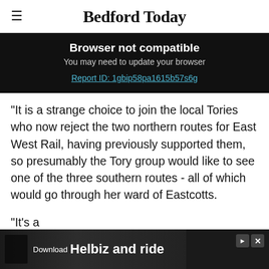Bedford Today
Browser not compatible
You may need to update your browser
Report ID: 1gbip58pa1615b57s6g
“It is a strange choice to join the local Tories who now reject the two northern routes for East West Rail, having previously supported them, so presumably the Tory group would like to see one of the three southern routes - all of which would go through her ward of Eastcotts.
“It’s a
[Figure (other): Advertisement banner: Download Helbiz and ride, with background image of a person and playback/close controls]